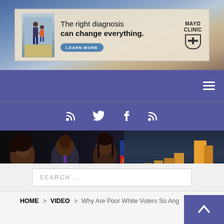[Figure (photo): Mayo Clinic advertisement banner: 'The right diagnosis can change everything.' with a Learn More button and Mayo Clinic logo]
[Figure (screenshot): Purple navigation bar with hamburger menu icon on the right]
[Figure (screenshot): Purple social media bar with RSS, Twitter, Facebook, and RSS icons]
[Figure (photo): Jacksonville Free Press website header banner showing people and city skyline with logo text]
[Figure (screenshot): Dark navigation bar with hamburger menu icon]
[Figure (screenshot): Search bar with placeholder text SEARCH ...]
HOME > VIDEO > Why Are Poor White Voters So Angr